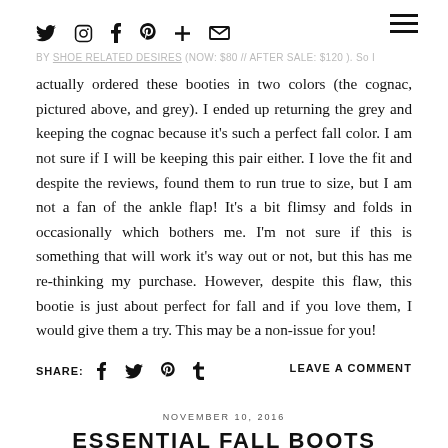Navigation icons: twitter, instagram, facebook, pinterest, plus, email, hamburger menu
BY SHOE RELATED DESIRES (NOW: $80 // AFTER SALE: $120 ). So I actually ordered these booties in two colors (the cognac, pictured above, and grey). I ended up returning the grey and keeping the cognac because it's such a perfect fall color. I am not sure if I will be keeping this pair either. I love the fit and despite the reviews, found them to run true to size, but I am not a fan of the ankle flap! It's a bit flimsy and folds in occasionally which bothers me. I'm not sure if this is something that will work it's way out or not, but this has me re-thinking my purchase. However, despite this flaw, this bootie is just about perfect for fall and if you love them, I would give them a try. This may be a non-issue for you!
SHARE:  LEAVE A COMMENT
NOVEMBER 10, 2016
ESSENTIAL FALL BOOTS